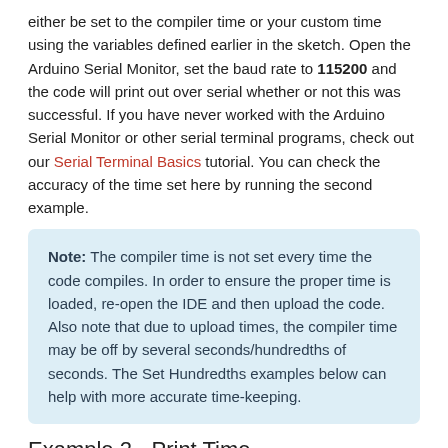either be set to the compiler time or your custom time using the variables defined earlier in the sketch. Open the Arduino Serial Monitor, set the baud rate to 115200 and the code will print out over serial whether or not this was successful. If you have never worked with the Arduino Serial Monitor or other serial terminal programs, check out our Serial Terminal Basics tutorial. You can check the accuracy of the time set here by running the second example.
Note: The compiler time is not set every time the code compiles. In order to ensure the proper time is loaded, re-open the IDE and then upload the code. Also note that due to upload times, the compiler time may be off by several seconds/hundredths of seconds. The Set Hundredths examples below can help with more accurate time-keeping.
Example 2 - Print Time
This example shows how to request the time from the RTC after it has been set. The code starts by initializing the RV-8803 on the I2C bus then attempts to to move the values from the RV-8803's time registers to the microcontroller's _time array using the